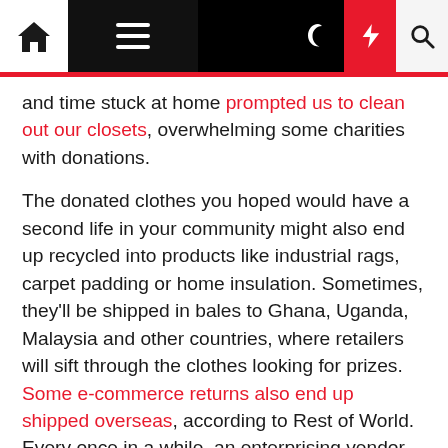Navigation bar with home, menu, moon, bolt, and search icons
and time stuck at home prompted us to clean out our closets, overwhelming some charities with donations.
The donated clothes you hoped would have a second life in your community might also end up recycled into products like industrial rags, carpet padding or home insulation. Sometimes, they'll be shipped in bales to Ghana, Uganda, Malaysia and other countries, where retailers will sift through the clothes looking for prizes. Some e-commerce returns also end up shipped overseas, according to Rest of World. Every once in a while, an enterprising vendor overseas will sell a high quality item to someone in the US by listing it on Etsy or eBay.
E-commerce is fueling the cycle. By 2021, online sales accounted for nearly half of all apparel…